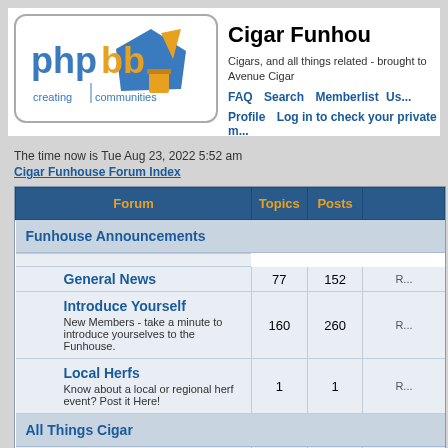[Figure (logo): phpBB 'creating communities' logo with blue and gold geometric shapes]
Cigar Funhouse
Cigars, and all things related - brought to you by Avenue Cigar
FAQ   Search   Memberlist   Us...   Profile   Log in to check your private m...
The time now is Tue Aug 23, 2022 5:52 am
Cigar Funhouse Forum Index
| Forum | Topics | Posts |
| --- | --- | --- |
| Funhouse Announcements |  |  |
| General News | 77 | 152 |
| Introduce Yourself
New Members - take a minute to introduce yourselves to the Funhouse. | 160 | 260 |
| Local Herfs
Know about a local or regional herf event? Post it Here! | 1 | 1 |
| All Things Cigar |  |  |
| Cigar Talk |  |  |